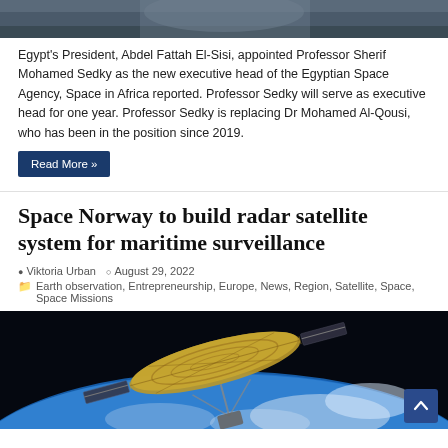[Figure (photo): Partial top of a photo showing a person at a desk or meeting table, dark background]
Egypt's President, Abdel Fattah El-Sisi, appointed Professor Sherif Mohamed Sedky as the new executive head of the Egyptian Space Agency, Space in Africa reported. Professor Sedky will serve as executive head for one year. Professor Sedky is replacing Dr Mohamed Al-Qousi, who has been in the position since 2019.
Read More »
Space Norway to build radar satellite system for maritime surveillance
Viktoria Urban   August 29, 2022
Earth observation, Entrepreneurship, Europe, News, Region, Satellite, Space, Space Missions
[Figure (photo): Illustration of a large radar satellite dish in space over Earth's blue horizon with clouds]